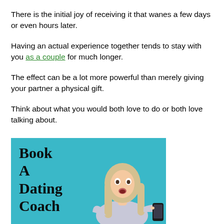There is the initial joy of receiving it that wanes a few days or even hours later.
Having an actual experience together tends to stay with you as a couple for much longer.
The effect can be a lot more powerful than merely giving your partner a physical gift.
Think about what you would both love to do or both love talking about.
[Figure (photo): Promotional image with teal background showing text 'Book A Dating Coach' on the left and a surprised blonde woman holding a phone on the right.]